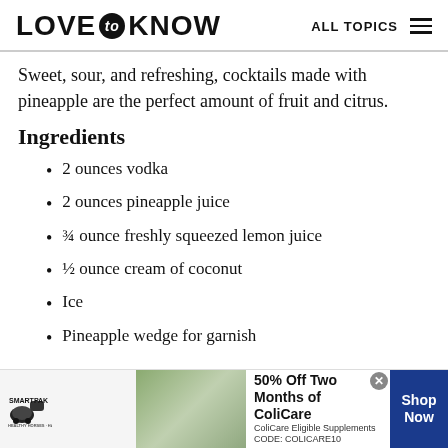LOVE to KNOW   ALL TOPICS
Sweet, sour, and refreshing, cocktails made with pineapple are the perfect amount of fruit and citrus.
Ingredients
2 ounces vodka
2 ounces pineapple juice
¾ ounce freshly squeezed lemon juice
½ ounce cream of coconut
Ice
Pineapple wedge for garnish
[Figure (infographic): SmartPak advertisement banner: 50% Off Two Months of ColiCare, ColiCare Eligible Supplements, CODE: COLICARE10, Shop Now button]